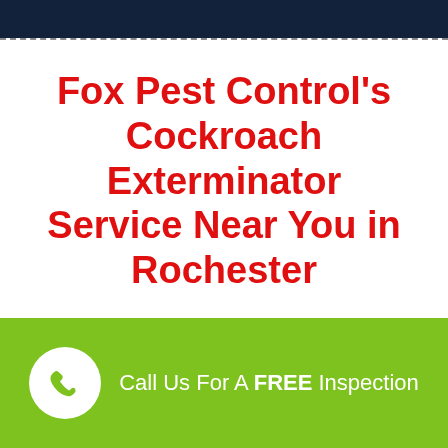Fox Pest Control's Cockroach Exterminator Service Near You in Rochester
Call Us For A FREE Inspection